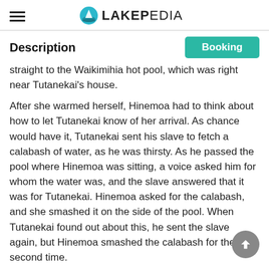LakePedia
Description
straight to the Waikimihia hot pool, which was right near Tutanekai’s house.
After she warmed herself, Hinemoa had to think about how to let Tutanekai know of her arrival. As chance would have it, Tutanekai sent his slave to fetch a calabash of water, as he was thirsty. As he passed the pool where Hinemoa was sitting, a voice asked him for whom the water was, and the slave answered that it was for Tutanekai. Hinemoa asked for the calabash, and she smashed it on the side of the pool. When Tutanekai found out about this, he sent the slave again, but Hinemoa smashed the calabash for the second time.